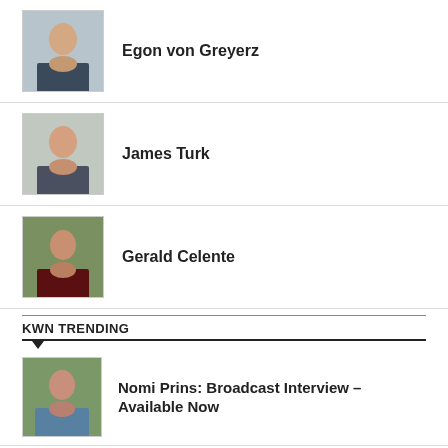[Figure (photo): Headshot of Egon von Greyerz, man in suit with arms crossed]
Egon von Greyerz
[Figure (photo): Headshot of James Turk, older man in suit]
James Turk
[Figure (photo): Headshot of Gerald Celente, man with dark clothing and background foliage]
Gerald Celente
KWN TRENDING
[Figure (photo): Headshot of Nomi Prins, woman outdoors]
Nomi Prins: Broadcast Interview – Available Now
KWN WEEKLY WRAP with Alasdair